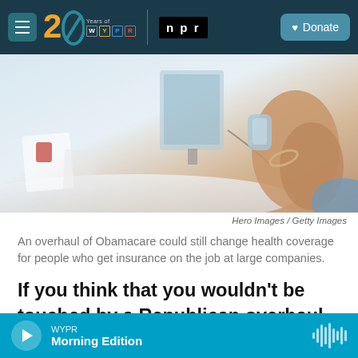WYPR 20 Years of WYPR | npr | Donate
[Figure (photo): A person at a medical or office desk, possibly having blood pressure taken or medical consultation, with blurred medical equipment in the background.]
Hero Images / Getty Images
An overhaul of Obamacare could still change health coverage for people who get insurance on the job at large companies.
If you think that you wouldn't be touched by a Republican overhaul of Obamacare because you get health insurance through your job at a big company, think again.
WYPR Morning Edition